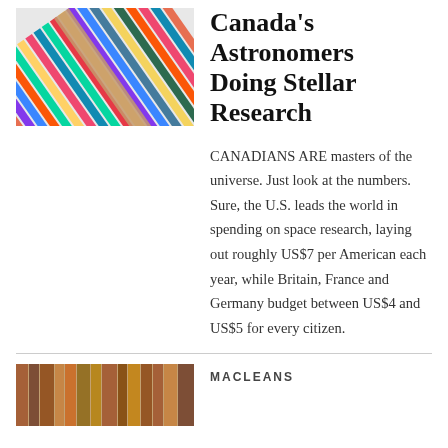[Figure (photo): Colorful striped pencils or rods stacked diagonally, with a wooden element crossing them]
Canada's Astronomers Doing Stellar Research
CANADIANS ARE masters of the universe. Just look at the numbers. Sure, the U.S. leads the world in spending on space research, laying out roughly US$7 per American each year, while Britain, France and Germany budget between US$4 and US$5 for every citizen.
[Figure (photo): Blurred colorful book spines on a shelf]
MACLEANS